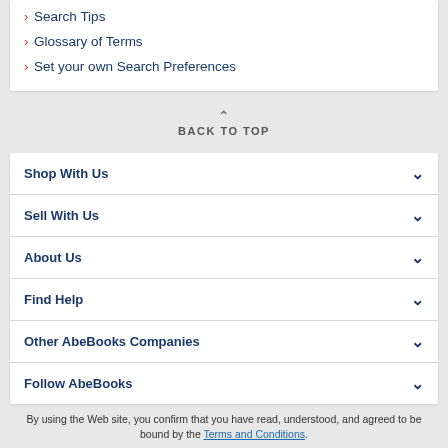› Search Tips
› Glossary of Terms
› Set your own Search Preferences
BACK TO TOP
Shop With Us
Sell With Us
About Us
Find Help
Other AbeBooks Companies
Follow AbeBooks
By using the Web site, you confirm that you have read, understood, and agreed to be bound by the Terms and Conditions.